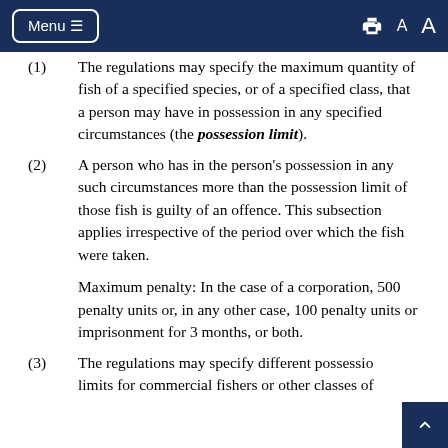Menu
(1) The regulations may specify the maximum quantity of fish of a specified species, or of a specified class, that a person may have in possession in any specified circumstances (the possession limit).
(2) A person who has in the person's possession in any such circumstances more than the possession limit of those fish is guilty of an offence. This subsection applies irrespective of the period over which the fish were taken.
Maximum penalty: In the case of a corporation, 500 penalty units or, in any other case, 100 penalty units or imprisonment for 3 months, or both.
(3) The regulations may specify different possession limits for commercial fishers or other classes of